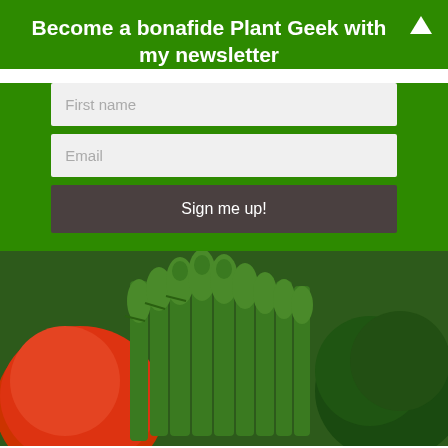Become a bonafide Plant Geek with my newsletter
[Figure (screenshot): Newsletter signup form with First name and Email fields and a Sign me up! button on green background]
[Figure (photo): Close-up photo of green asparagus spears bundled together with a red tomato visible on the left and dark green broccoli on the right]
Asparagus beetle
These tiny black and yellow beetles will enjoy your harvest almost as much as you do. They generally only leave